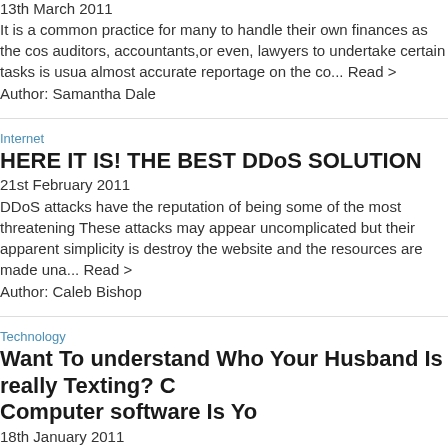13th March 2011
It is a common practice for many to handle their own finances as the co... auditors, accountants,or even, lawyers to undertake certain tasks is usua... almost accurate reportage on the co... Read >
Author: Samantha Dale
Internet
HERE IT IS! THE BEST DDoS SOLUTION
21st February 2011
DDoS attacks have the reputation of being some of the most threatening... These attacks may appear uncomplicated but their apparent simplicity is... destroy the website and the resources are made una... Read >
Author: Caleb Bishop
Technology
Want To understand Who Your Husband Is really Texting? Computer software Is Yo
18th January 2011
Is it driving you insane that you do not know who your husband is texting... phone? Does he delete all of his call logs or text messages? In the event... see a good deal of numbers on it tha... Read >
Author: KelliChase99